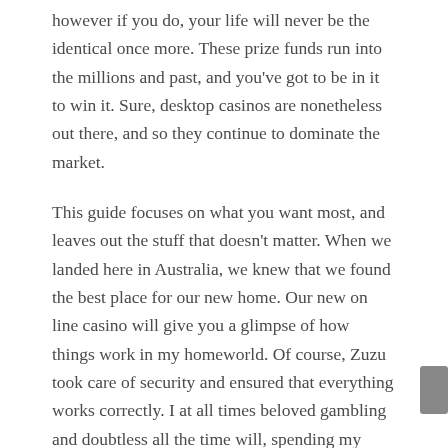however if you do, your life will never be the identical once more. These prize funds run into the millions and past, and you've got to be in it to win it. Sure, desktop casinos are nonetheless out there, and so they continue to dominate the market.
This guide focuses on what you want most, and leaves out the stuff that doesn't matter. When we landed here in Australia, we knew that we found the best place for our new home. Our new on line casino will give you a glimpse of how things work in my homeworld. Of course, Zuzu took care of security and ensured that everything works correctly. I at all times beloved gambling and doubtless all the time will, spending my time reviewing playing sites to assist people save time. This refers to the theoretical return a player can get when enjoying for an prolonged period in one sport.
Every single casino site online has a list of bonuses supplied to potential and present clientele. Online gaming platforms on the record feature flexible gifting techniques and favourable terms for